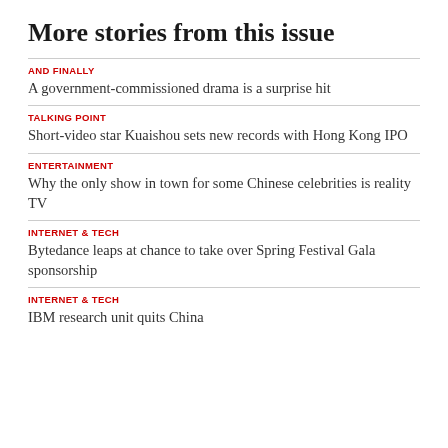More stories from this issue
AND FINALLY
A government-commissioned drama is a surprise hit
TALKING POINT
Short-video star Kuaishou sets new records with Hong Kong IPO
ENTERTAINMENT
Why the only show in town for some Chinese celebrities is reality TV
INTERNET & TECH
Bytedance leaps at chance to take over Spring Festival Gala sponsorship
INTERNET & TECH
IBM research unit quits China